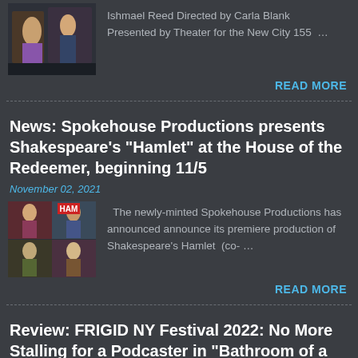[Figure (photo): Theater scene photo showing performers on stage]
Ishmael Reed Directed by Carla Blank Presented by Theater for the New City 155 …
READ MORE
News: Spokehouse Productions presents Shakespeare's "Hamlet" at the House of the Redeemer, beginning 11/5
November 02, 2021
[Figure (photo): Hamlet production collage with cast photos and HAM text]
The newly-minted Spokehouse Productions has announced announce its premiere production of Shakespeare's Hamlet (co- …
READ MORE
Review: FRIGID NY Festival 2022: No More Stalling for a Podcaster in "Bathroom of a Bar